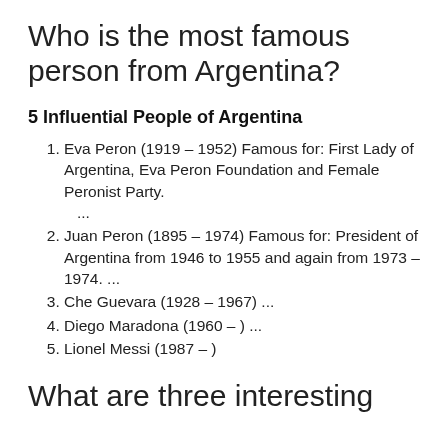Who is the most famous person from Argentina?
5 Influential People of Argentina
Eva Peron (1919 – 1952) Famous for: First Lady of Argentina, Eva Peron Foundation and Female Peronist Party. ...
Juan Peron (1895 – 1974) Famous for: President of Argentina from 1946 to 1955 and again from 1973 – 1974. ...
Che Guevara (1928 – 1967) ...
Diego Maradona (1960 – ) ...
Lionel Messi (1987 – )
What are three interesting